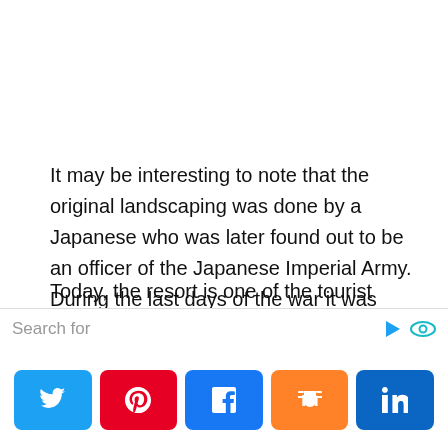It may be interesting to note that the original landscaping was done by a Japanese who was later found out to be an officer of the Japanese Imperial Army. During the last days of the war it was closed down by the family, and unfortunately, neglect and apparent lack of maintenance brought the natural demise of the resort.
Today, the resort is one of the tourist destinations in
Search for